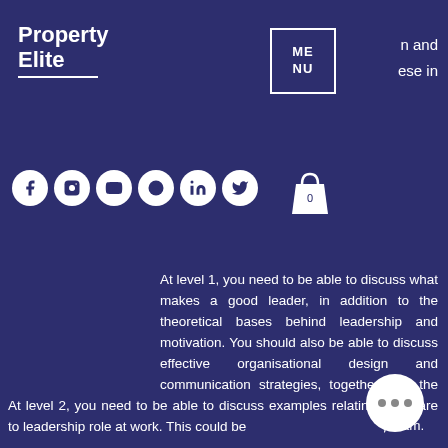Property Elite
n and ese in
At level 1, you need to be able to discuss what makes a good leader, in addition to the theoretical bases behind leadership and motivation. You should also be able to discuss effective organisational design and communication strategies, together with the conditions and climate you believe are necessary to create a high performing team.
At level 2, you need to be able to discuss examples relating to leadership role at work. This could be